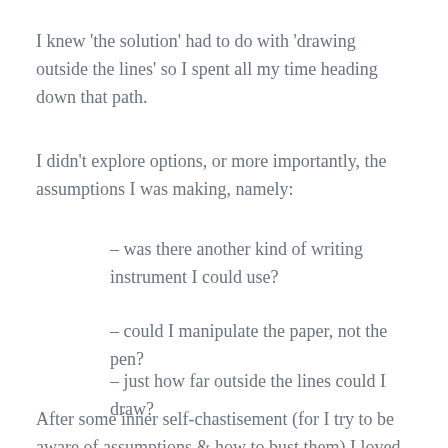I knew 'the solution' had to do with 'drawing outside the lines' so I spent all my time heading down that path.
I didn't explore options, or more importantly, the assumptions I was making, namely:
– was there another kind of writing instrument I could use?
– could I manipulate the paper, not the pen?
– just how far outside the lines could I draw?
After some inner self-chastisement (for I try to be aware of assumptions & how to bust them) I loved